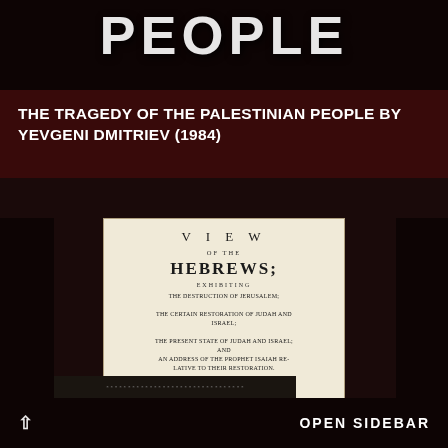[Figure (photo): Top portion of a book cover showing large bold white text 'PEOPLE' on dark background]
THE TRAGEDY OF THE PALESTINIAN PEOPLE BY YEVGENI DMITRIEV (1984)
[Figure (photo): Photograph of an old book title page reading: VIEW OF THE HEBREWS; EXHIBITING THE DESTRUCTION OF JERUSALEM; THE CERTAIN RESTORATION OF JUDAH AND ISRAEL; THE PRESENT STATE OF JUDAH AND ISRAEL; AND AN ADDRESS OF THE PROPHET ISAIAH RELATIVE TO THEIR RESTORATION. BY ETHAN SMITH, PASTOR OF A CHURCH IN POULTNEY (VT.)]
OPEN SIDEBAR